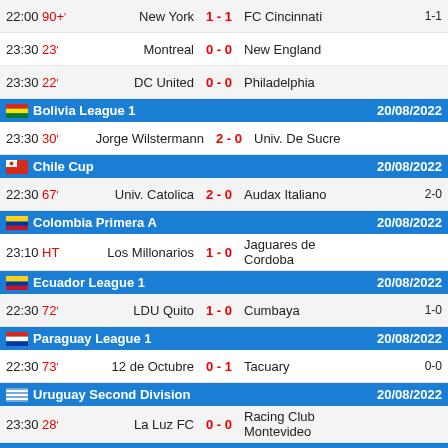| Time | Min | Home | Score | Away | Agg |
| --- | --- | --- | --- | --- | --- |
| 22:00 | 90+' | New York | 1 - 1 | FC Cincinnati | 1-1 |
| 23:30 | 23' | Montreal | 0 - 0 | New England |  |
| 23:30 | 22' | DC United | 0 - 0 | Philadelphia |  |
Bolivia League 1 — 20/08/2022
| Time | Min | Home | Score | Away | Agg |
| --- | --- | --- | --- | --- | --- |
| 23:30 | 30' | Jorge Wilstermann | 2 - 0 | Univ. De Sucre |  |
Chile Cup — 20/08/2022
| Time | Min | Home | Score | Away | Agg |
| --- | --- | --- | --- | --- | --- |
| 22:30 | 67' | Univ. Catolica | 2 - 0 | Audax Italiano | 2-0 |
Colombia Primera A — 20/08/2022
| Time | Min | Home | Score | Away | Agg |
| --- | --- | --- | --- | --- | --- |
| 23:10 | HT | Los Millonarios | 1 - 0 | Jaguares de Cordoba |  |
Ecuador League 1 — 20/08/2022
| Time | Min | Home | Score | Away | Agg |
| --- | --- | --- | --- | --- | --- |
| 22:30 | 72' | LDU Quito | 1 - 0 | Cumbaya | 1-0 |
Paraguay League 1 — 20/08/2022
| Time | Min | Home | Score | Away | Agg |
| --- | --- | --- | --- | --- | --- |
| 22:30 | 73' | 12 de Octubre | 0 - 1 | Tacuary | 0-0 |
Uruguay Second Division — 20/08/2022
| Time | Min | Home | Score | Away | Agg |
| --- | --- | --- | --- | --- | --- |
| 23:30 | 28' | La Luz FC | 0 - 0 | Racing Club Montevideo |  |
Venezuela League 1 — 20/08/2022
| Time | Min | Home | Score | Away | Agg |
| --- | --- | --- | --- | --- | --- |
| 23:15 | 45+' | Carabobo | 0 - 0 | Dep. Metropolitano |  |
World Club Friendlies — 20/08/2022
| Time | Min | Home | Score | Away | Agg |
| --- | --- | --- | --- | --- | --- |
| 23:00 | HT | Orlando City (U23) | 2 - 1 | Columbus Crew B | 2-1 |